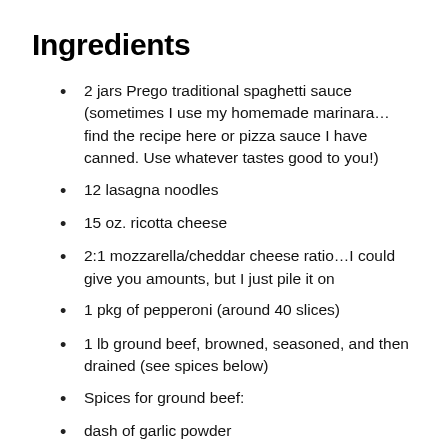Ingredients
2 jars Prego traditional spaghetti sauce (sometimes I use my homemade marinara… find the recipe here or pizza sauce I have canned. Use whatever tastes good to you!)
12 lasagna noodles
15 oz. ricotta cheese
2:1 mozzarella/cheddar cheese ratio…I could give you amounts, but I just pile it on
1 pkg of pepperoni (around 40 slices)
1 lb ground beef, browned, seasoned, and then drained (see spices below)
Spices for ground beef:
dash of garlic powder
1/8 tsp of onion powder
1/8 tsp of chili powder